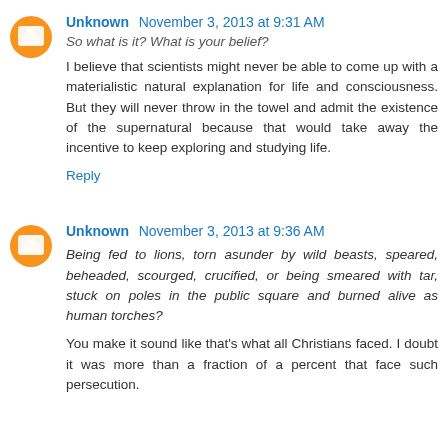Unknown November 3, 2013 at 9:31 AM
So what is it? What is your belief?
I believe that scientists might never be able to come up with a materialistic natural explanation for life and consciousness. But they will never throw in the towel and admit the existence of the supernatural because that would take away the incentive to keep exploring and studying life.
Reply
Unknown November 3, 2013 at 9:36 AM
Being fed to lions, torn asunder by wild beasts, speared, beheaded, scourged, crucified, or being smeared with tar, stuck on poles in the public square and burned alive as human torches?
You make it sound like that's what all Christians faced. I doubt it was more than a fraction of a percent that face such persecution.